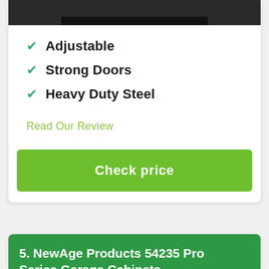[Figure (photo): Dark colored product image at top of card (garage cabinet), partially cropped]
Adjustable
Strong Doors
Heavy Duty Steel
Read Our Review
Check price
5. NewAge Products 54235 Pro Series Garage Cabinets
Most Versatile